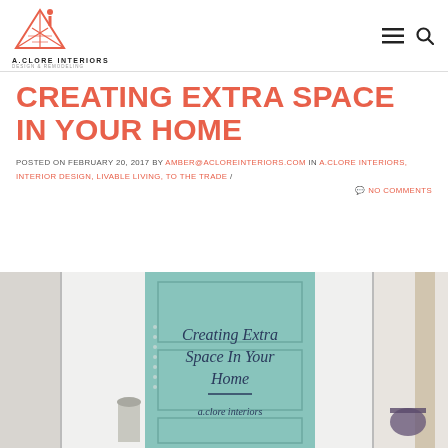[Figure (logo): A.Clore Interiors logo with pink geometric AI triangle mark and text 'A.CLORE INTERIORS / DESIGN & REMODELING']
CREATING EXTRA SPACE IN YOUR HOME
POSTED ON FEBRUARY 20, 2017 BY AMBER@ACLOREINTERIORS.COM IN A.CLORE INTERIORS, INTERIOR DESIGN, LIVABLE LIVING, TO THE TRADE / NO COMMENTS
[Figure (photo): Blog post featured image collage showing a teal/mint painted door with 'Creating Extra Space In Your Home / a.clore interiors' text overlay, flanked by interior room photos]